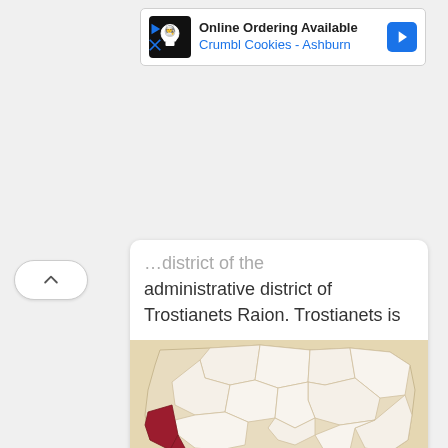[Figure (screenshot): Advertisement banner for Crumbl Cookies - Ashburn with Online Ordering Available text and navigation arrow icon]
…administrative district of Trostianets Raion. Trostianets is
[Figure (map): Map of Ternopil Oblast showing Berezhany Raion highlighted in dark red in the westernmost corner of the oblast. Surrounding regions shown in light beige/cream with white district borders on a tan background.]
Berezhany Raion was a raion (district) in the westernmost corner of Ternopil Oblast